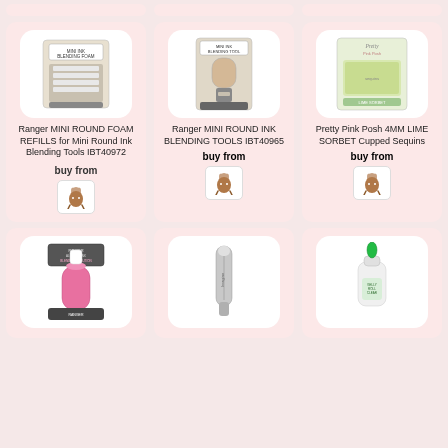[Figure (photo): Top partial row showing three product card tops]
[Figure (photo): Ranger MINI ROUND FOAM REFILLS product image in white rounded box]
Ranger MINI ROUND FOAM REFILLS for Mini Round Ink Blending Tools IBT40972
buy from
[Figure (logo): Stamping Bella donkey logo]
[Figure (photo): Ranger MINI ROUND INK BLENDING TOOLS IBT40965 product image in white rounded box]
Ranger MINI ROUND INK BLENDING TOOLS IBT40965
buy from
[Figure (logo): Stamping Bella donkey logo]
[Figure (photo): Pretty Pink Posh 4MM LIME SORBET Cupped Sequins product image in white rounded box]
Pretty Pink Posh 4MM LIME SORBET Cupped Sequins
buy from
[Figure (logo): Stamping Bella donkey logo]
[Figure (photo): Bottom left product in pink bottle packaging]
[Figure (photo): Bottom center product silver tube/pen]
[Figure (photo): Bottom right product green tip glue bottle]